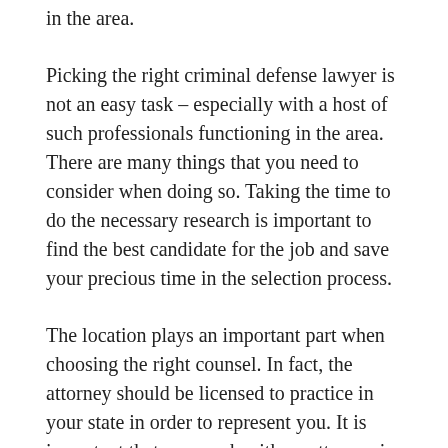in the area.
Picking the right criminal defense lawyer is not an easy task – especially with a host of such professionals functioning in the area. There are many things that you need to consider when doing so. Taking the time to do the necessary research is important to find the best candidate for the job and save your precious time in the selection process.
The location plays an important part when choosing the right counsel. In fact, the attorney should be licensed to practice in your state in order to represent you. It is important that you work with an attorney in the same state.